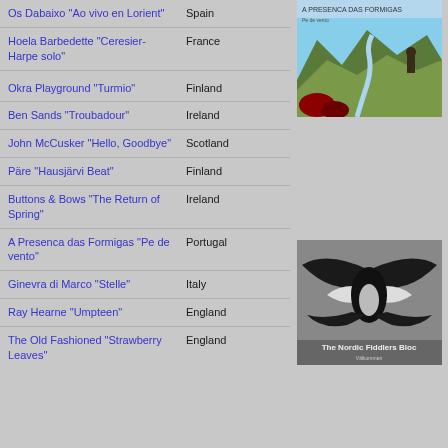Os Dabaixo "Ao vivo en Lorient"
Hoela Barbedette "Ceresier- Harpe solo"
[Figure (illustration): Album cover showing a highland landscape with a figure and a winding river, titled 'A Presenca das Formigas']
Okra Playground "Turmio"
Ben Sands "Troubadour"
John McCusker "Hello, Goodbye"
Päre "Hausjärvi Beat"
Buttons & Bows "The Return of Spring"
A Presenca das Formigas "Pe de vento"
Ginevra di Marco "Stelle"
[Figure (illustration): Album cover for The Nordic Fiddlers Bloc showing two black birds with spread wings forming a symmetrical design on a grey background]
Ray Hearne "Umpteen"
The Old Fashioned "Strawberry Leaves"